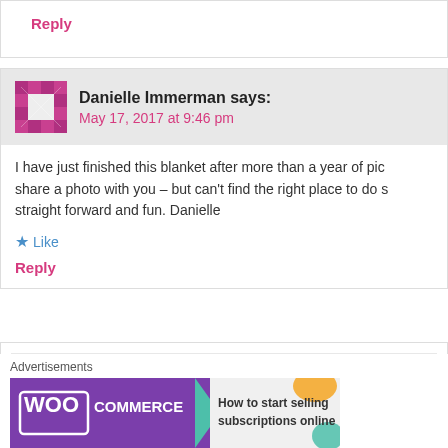Reply
Danielle Immerman says:
May 17, 2017 at 9:46 pm
I have just finished this blanket after more than a year of pic… share a photo with you – but can't find the right place to do s… straight forward and fun. Danielle
★ Like
Reply
HannahOwens says:
June 13, 2017 at 9:07 pm
I'd love to see! Just e-mail me at davish14 (AT) winthrop (DO…
Advertisements
[Figure (other): WooCommerce advertisement banner: 'How to start selling subscriptions online']